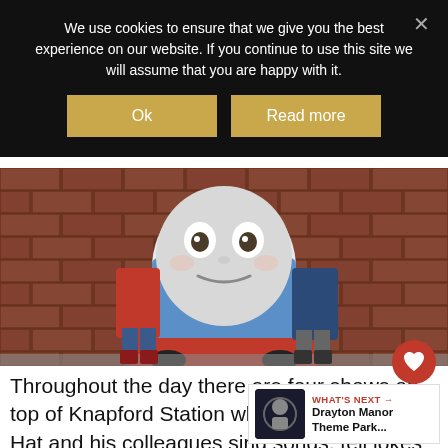We use cookies to ensure that we give you the best experience on our website. If you continue to use this site we will assume that you are happy with it.
[Figure (photo): Two children standing on a large Thomas the Tank Engine model train against a brick wall background.]
Throughout the day there are four shows on top of Knapford Station where Sir Topham Hat and his colleagues sing songs, tell jokes and spread festive cheer. This show ends with snow falling and it wouldn't it...